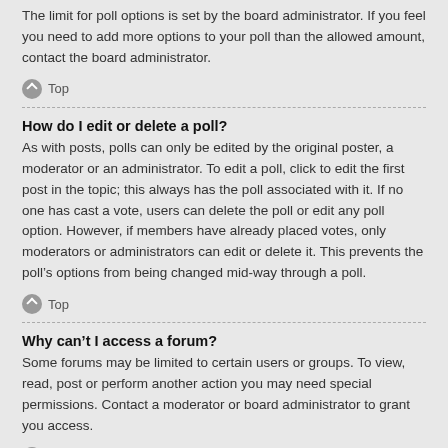The limit for poll options is set by the board administrator. If you feel you need to add more options to your poll than the allowed amount, contact the board administrator.
Top
How do I edit or delete a poll?
As with posts, polls can only be edited by the original poster, a moderator or an administrator. To edit a poll, click to edit the first post in the topic; this always has the poll associated with it. If no one has cast a vote, users can delete the poll or edit any poll option. However, if members have already placed votes, only moderators or administrators can edit or delete it. This prevents the poll’s options from being changed mid-way through a poll.
Top
Why can’t I access a forum?
Some forums may be limited to certain users or groups. To view, read, post or perform another action you may need special permissions. Contact a moderator or board administrator to grant you access.
Top
Why can’t I add attachments?
Attachment permissions are granted on a per forum, per group, or per user basis. The board administrator may not have allowed attachments to be